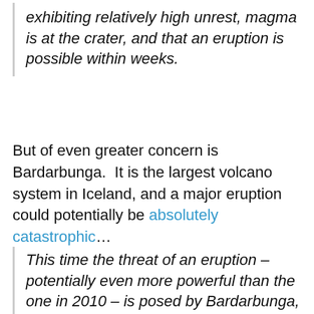exhibiting relatively high unrest, magma is at the crater, and that an eruption is possible within weeks.
But of even greater concern is Bardarbunga. It is the largest volcano system in Iceland, and a major eruption could potentially be absolutely catastrophic...
This time the threat of an eruption – potentially even more powerful than the one in 2010 – is posed by Bardarbunga, the biggest of Iceland's 30 or so volcanic